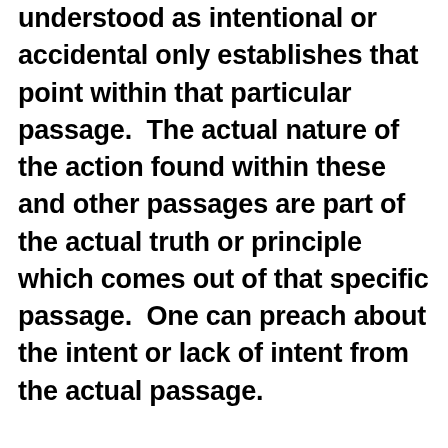understood as intentional or accidental only establishes that point within that particular passage.  The actual nature of the action found within these and other passages are part of the actual truth or principle which comes out of that specific passage.  One can preach about the intent or lack of intent from the actual passage.

The topoi of intentional and accidental are not about biblical passages which actually identity or state one of these two categories of action.  While there are Bible passages which speak about